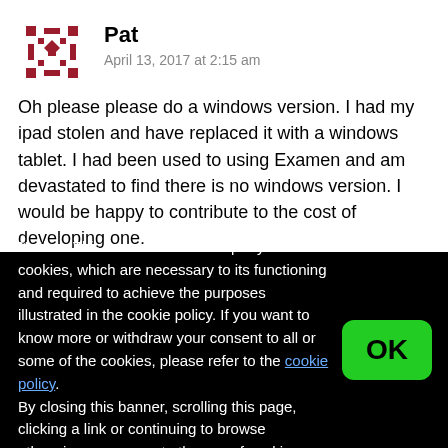[Figure (illustration): User avatar with red and white geometric/floral pattern]
Pat
April 13, 2017 at 2:15 am
Oh please please do a windows version. I had my ipad stolen and have replaced it with a windows tablet. I had been used to using Examen and am devastated to find there is no windows version. I would be happy to contribute to the cost of developing one.
Reply
Notice: This website or its third-party tools use cookies, which are necessary to its functioning and required to achieve the purposes illustrated in the cookie policy. If you want to know more or withdraw your consent to all or some of the cookies, please refer to the cookie policy.
By closing this banner, scrolling this page, clicking a link or continuing to browse otherwise, you agree to the use of cookies.